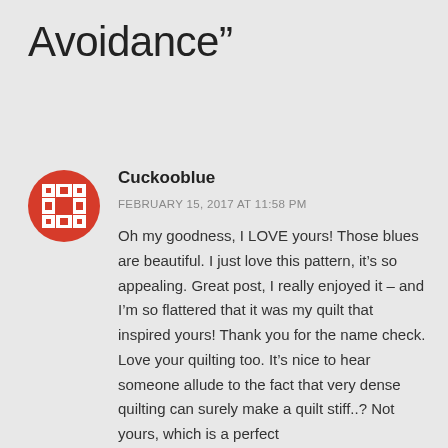Avoidance”
[Figure (logo): Red and white decorative quilt-pattern circular avatar icon for user Cuckooblue]
Cuckooblue
FEBRUARY 15, 2017 AT 11:58 PM
Oh my goodness, I LOVE yours! Those blues are beautiful. I just love this pattern, it’s so appealing. Great post, I really enjoyed it – and I’m so flattered that it was my quilt that inspired yours! Thank you for the name check. Love your quilting too. It’s nice to hear someone allude to the fact that very dense quilting can surely make a quilt stiff..? Not yours, which is a perfect